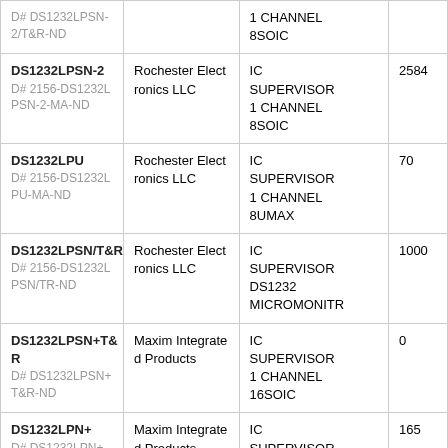| Part | Manufacturer | Description | Stock |
| --- | --- | --- | --- |
| DS1232LPSN-2
D# 2156-DS1232LPSN-2-MA-ND | Rochester Electronics LLC | IC SUPERVISOR 1 CHANNEL 8SOIC | 2584 |
| DS1232LPU
D# 2156-DS1232LPU-MA-ND | Rochester Electronics LLC | IC SUPERVISOR 1 CHANNEL 8UMAX | 70 |
| DS1232LPSN/T&R
D# 2156-DS1232LPSN/TR-ND | Rochester Electronics LLC | IC SUPERVISOR DS1232 MICROMONITR | 1000 |
| DS1232LPSN+T&R
D# DS1232LPSN+T&R-ND | Maxim Integrated Products | IC SUPERVISOR 1 CHANNEL 16SOIC | 0 |
| DS1232LPN+
D# DS1232LPN+-ND | Maxim Integrated Products | IC SUPERVISOR 1 CHANNEL | 165 |